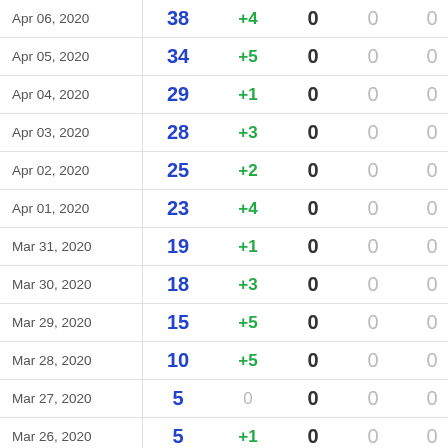| Date | Total | New | Deaths | Col5 | Col6 |
| --- | --- | --- | --- | --- | --- |
| Apr 06, 2020 | 38 | +4 | 0 | 0 | 0 |
| Apr 05, 2020 | 34 | +5 | 0 | 0 | 0 |
| Apr 04, 2020 | 29 | +1 | 0 | 0 | 0 |
| Apr 03, 2020 | 28 | +3 | 0 | 0 | 0 |
| Apr 02, 2020 | 25 | +2 | 0 | 0 | 0 |
| Apr 01, 2020 | 23 | +4 | 0 | 0 | 0 |
| Mar 31, 2020 | 19 | +1 | 0 | 0 | 0 |
| Mar 30, 2020 | 18 | +3 | 0 | 0 | 0 |
| Mar 29, 2020 | 15 | +5 | 0 | 0 | 0 |
| Mar 28, 2020 | 10 | +5 | 0 | 0 | 0 |
| Mar 27, 2020 | 5 | 0 | 0 | 0 | 0 |
| Mar 26, 2020 | 5 | +1 | 0 | 0 | 0 |